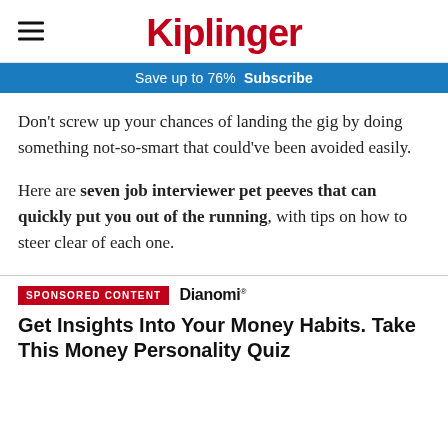Kiplinger
Save up to 76% Subscribe
Don't screw up your chances of landing the gig by doing something not-so-smart that could've been avoided easily.
Here are seven job interviewer pet peeves that can quickly put you out of the running, with tips on how to steer clear of each one.
SPONSORED CONTENT Dianomi
Get Insights Into Your Money Habits. Take This Money Personality Quiz